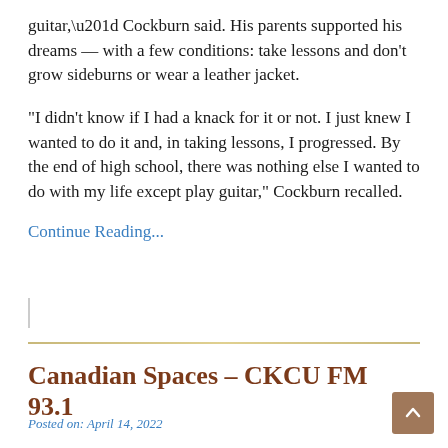guitar,” Cockburn said. His parents supported his dreams — with a few conditions: take lessons and don’t grow sideburns or wear a leather jacket.
“I didn’t know if I had a knack for it or not. I just knew I wanted to do it and, in taking lessons, I progressed. By the end of high school, there was nothing else I wanted to do with my life except play guitar,” Cockburn recalled.
Continue Reading...
Canadian Spaces – CKCU FM 93.1
Posted on: April 14, 2022